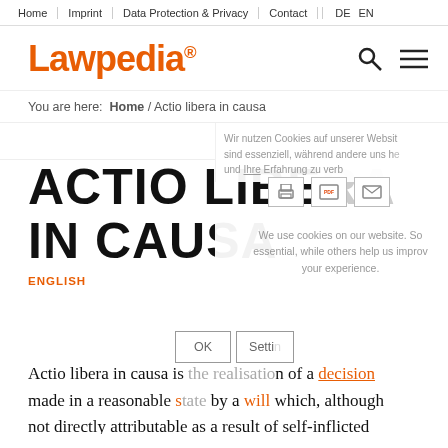Home | Imprint | Data Protection & Privacy | Contact | DE | EN
[Figure (logo): Lawpedia® logo in orange with search and hamburger menu icons]
You are here: Home / Actio libera in causa
Wir nutzen Cookies auf unserer Website. Einige von ihnen sind essenziell, während andere uns helfen, diese Website und Ihre Erfahrung zu verb...
We use cookies on our website. Some of them are essential, while others help us improve this website and your experience.
ACTIO LIBERA IN CAUSA
ENGLISH
Actio libera in causa is the realisation of a decision made in a reasonable state by a will which, although not directly attributable as a result of self-inflicted